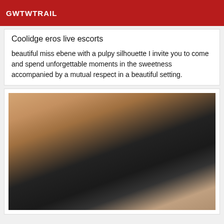GWTWTRAIL
Coolidge eros live escorts
beautiful miss ebene with a pulpy silhouette I invite you to come and spend unforgettable moments in the sweetness accompanied by a mutual respect in a beautiful setting.
[Figure (photo): Close-up photo of a woman in a black low-cut top]